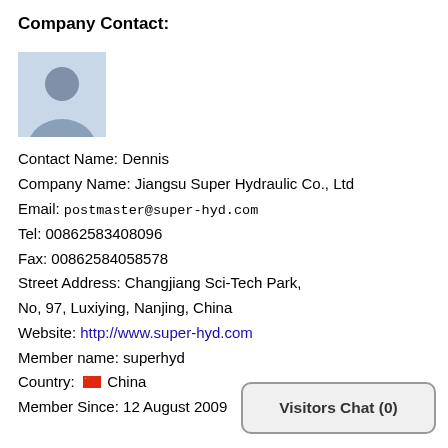Company Contact:
[Figure (photo): Generic silhouette avatar placeholder image showing a grey male profile bust on a light blue background]
Contact Name: Dennis
Company Name: Jiangsu Super Hydraulic Co., Ltd
Email: postmaster@super-hyd.com
Tel: 00862583408096
Fax: 00862584058578
Street Address: Changjiang Sci-Tech Park, No, 97, Luxiying, Nanjing, China
Website: http://www.super-hyd.com
Member name: superhyd
Country: China
Member Since: 12 August 2009
Visitors Chat (0)